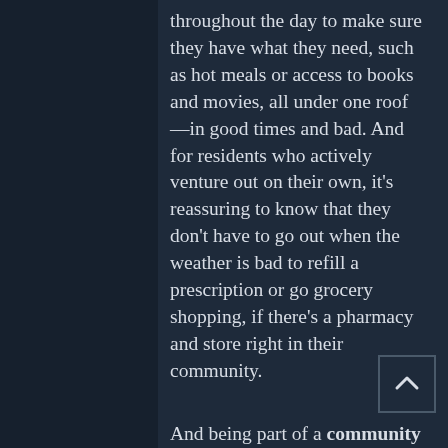throughout the day to make sure they have what they need, such as hot meals or access to books and movies, all under one roof—in good times and bad. And for residents who actively venture out on their own, it's reassuring to know that they don't have to go out when the weather is bad to refill a prescription or go grocery shopping, if there's a pharmacy and store right in their community.
And being part of a community encourages seniors to be more engaged and active, which contributes to their overall wellbeing. In addition to socializing with other residents, communities offer